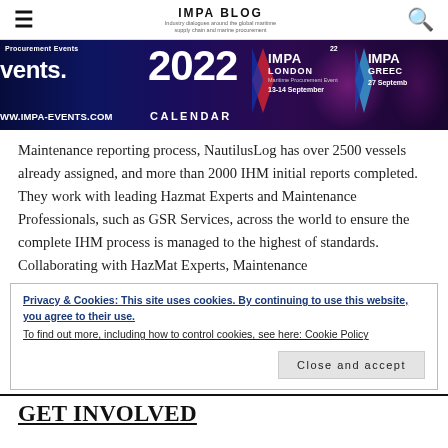IMPA BLOG
[Figure (screenshot): IMPA 2022 Events banner with '2022 CALENDAR', 'IMPA LONDON 13-14 September', 'IMPA GREECE 27 September', and 'WWW.IMPA-EVENTS.COM']
Maintenance reporting process, NautilusLog has over 2500 vessels already assigned, and more than 2000 IHM initial reports completed. They work with leading Hazmat Experts and Maintenance Professionals, such as GSR Services, across the world to ensure the complete IHM process is managed to the highest of standards. Collaborating with HazMat Experts, Maintenance
Privacy & Cookies: This site uses cookies. By continuing to use this website, you agree to their use.
To find out more, including how to control cookies, see here: Cookie Policy
GET INVOLVED